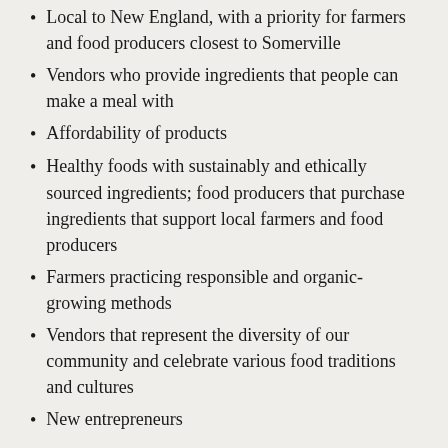Local to New England, with a priority for farmers and food producers closest to Somerville
Vendors who provide ingredients that people can make a meal with
Affordability of products
Healthy foods with sustainably and ethically sourced ingredients; food producers that purchase ingredients that support local farmers and food producers
Farmers practicing responsible and organic-growing methods
Vendors that represent the diversity of our community and celebrate various food traditions and cultures
New entrepreneurs
How is the market healthy for me